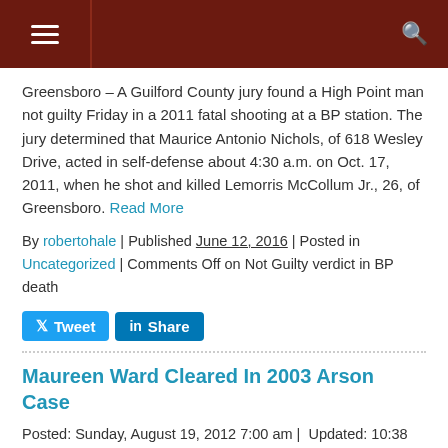Navigation header bar with hamburger menu and search icon
Greensboro – A Guilford County jury found a High Point man not guilty Friday in a 2011 fatal shooting at a BP station. The jury determined that Maurice Antonio Nichols, of 618 Wesley Drive, acted in self-defense about 4:30 a.m. on Oct. 17, 2011, when he shot and killed Lemorris McCollum Jr., 26, of Greensboro. Read More
By robertohale | Published June 12, 2016 | Posted in Uncategorized | Comments Off on Not Guilty verdict in BP death
Tweet Share
Maureen Ward Cleared In 2003 Arson Case
Posted: Sunday, August 19, 2012 7:00 am |  Updated: 10:38 am, Thu Feb 14, 2013. Danielle Battaglia It was a court case almost 10 years in the making. In the end, a Rockingham County woman was